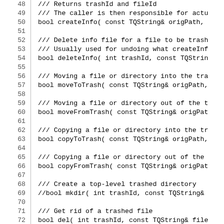[Figure (screenshot): Source code listing showing C++ class method declarations with line numbers 48-77. Methods include createInfo, deleteInfo, moveToTrash, moveFromTrash, copyToTrash, copyFromTrash, mkdir (commented out), del, emptyTrash, and a partial comment about returning true if the trash is empty.]